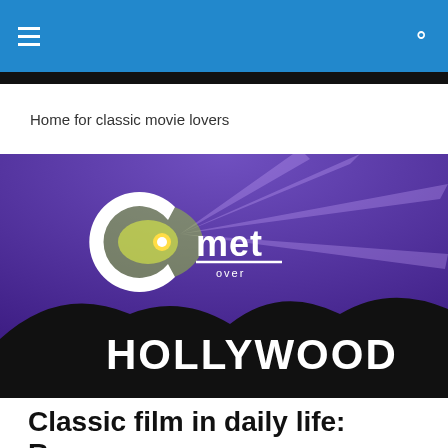Home for classic movie lovers
[Figure (illustration): Comet Over Hollywood logo on a purple night sky with Hollywood sign silhouette and mountains. The logo features a large white letter C with a glowing comet, followed by 'met' with 'over' underneath. Below is the HOLLYWOOD sign in large white letters.]
Classic film in daily life: Room